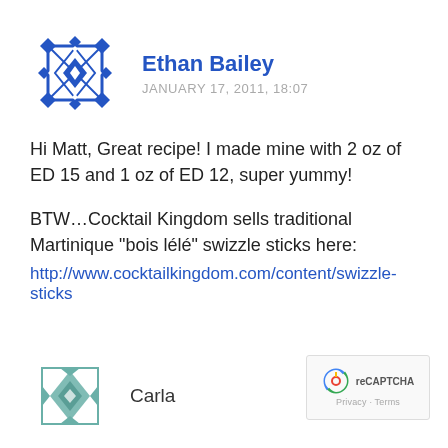[Figure (logo): Blue geometric/diamond pattern avatar for Ethan Bailey]
Ethan Bailey
JANUARY 17, 2011, 18:07
Hi Matt, Great recipe! I made mine with 2 oz of ED 15 and 1 oz of ED 12, super yummy!
BTW…Cocktail Kingdom sells traditional Martinique "bois lélé" swizzle sticks here:
http://www.cocktailkingdom.com/content/swizzle-sticks
[Figure (logo): Teal geometric avatar for Carla]
Carla